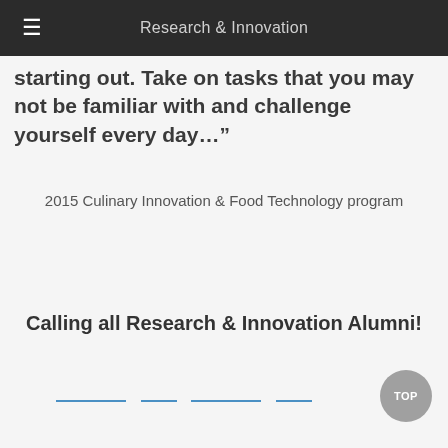Research & Innovation
starting out. Take on tasks that you may not be familiar with and challenge yourself every day…”
2015 Culinary Innovation & Food Technology program
Calling all Research & Innovation Alumni!
TOP